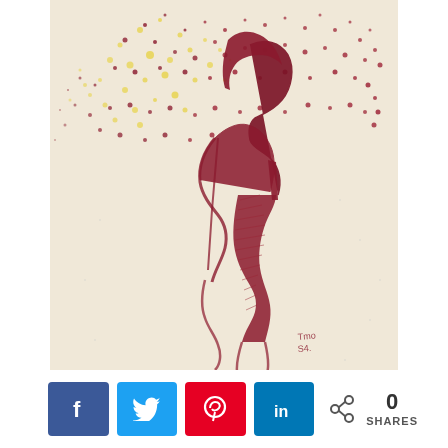[Figure (illustration): A stipple/pointillism-style illustration of a woman in profile (side view, facing right) with an explosive cloud of red and yellow dots forming her hair. The figure is drawn in deep crimson/maroon using hatching and stippling techniques on a cream/beige background. The woman's body is partially visible below, with expressive linework. A small artist signature reads 'Tmo 54' at the bottom right of the artwork.]
0 SHARES